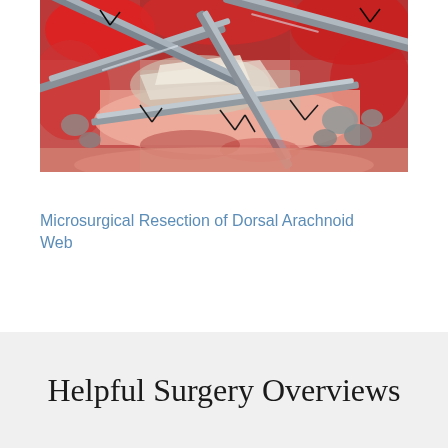[Figure (photo): Surgical intraoperative photograph showing microsurgical resection of dorsal arachnoid web. Visible are surgical instruments (retractors), exposed spinal tissue with red bloody tissue, pink adipose tissue, black sutures, and metallic surgical tools against a backdrop of exposed anatomical structures.]
Microsurgical Resection of Dorsal Arachnoid Web
Helpful Surgery Overviews